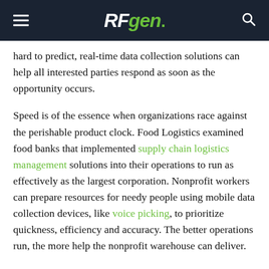RFgen
hard to predict, real-time data collection solutions can help all interested parties respond as soon as the opportunity occurs.
Speed is of the essence when organizations race against the perishable product clock. Food Logistics examined food banks that implemented supply chain logistics management solutions into their operations to run as effectively as the largest corporation. Nonprofit workers can prepare resources for needy people using mobile data collection devices, like voice picking, to prioritize quickness, efficiency and accuracy. The better operations run, the more help the nonprofit warehouse can deliver.
Businesses should seek out partners like Food Cowboy and nonprofit organizations that operate with effective data collection solutions when government regulations or internal interest cause them to look for donation options. Any time a company needs to work with another group, it